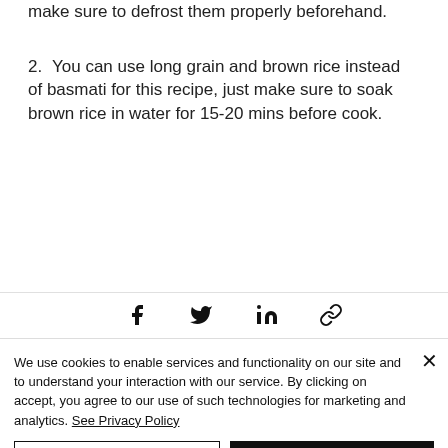make sure to defrost them properly beforehand.
2. You can use long grain and brown rice instead of basmati for this recipe, just make sure to soak brown rice in water for 15-20 mins before cook.
[Figure (other): Social share icons row: Facebook, Twitter, LinkedIn, and link/chain icon]
We use cookies to enable services and functionality on our site and to understand your interaction with our service. By clicking on accept, you agree to our use of such technologies for marketing and analytics. See Privacy Policy
Cookie Settings    Accept